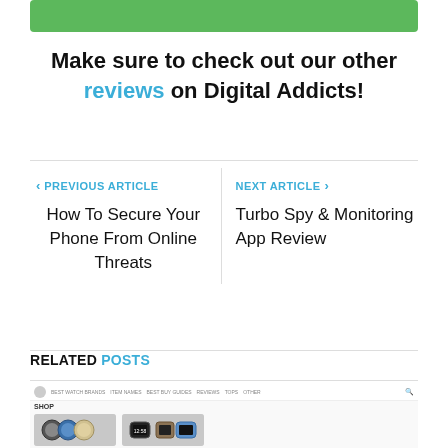[Figure (illustration): Green button bar at top of page]
Make sure to check out our other reviews on Digital Addicts!
PREVIOUS ARTICLE
How To Secure Your Phone From Online Threats
NEXT ARTICLE
Turbo Spy & Monitoring App Review
RELATED POSTS
[Figure (screenshot): Screenshot of a website showing watch product images including analog and smart watches]